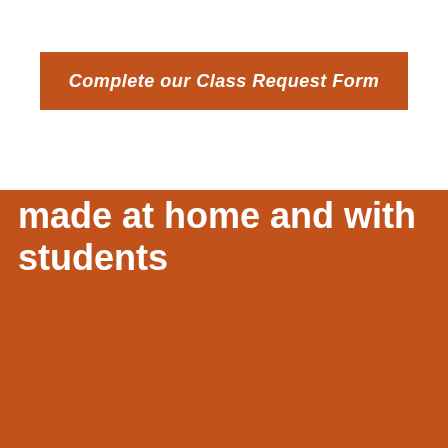Complete our Class Request Form
Some nose-to-tail dishes made at home and with students